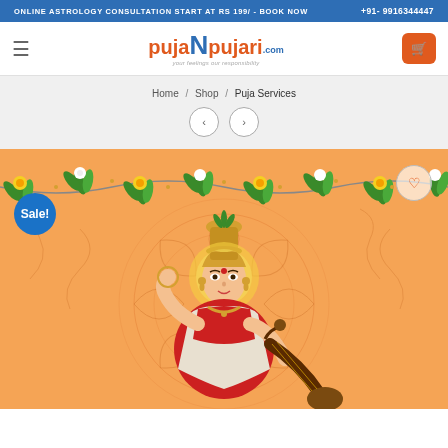ONLINE ASTROLOGY CONSULTATION START AT RS 199/ - BOOK NOW   +91- 9916344447
[Figure (logo): PujaNpujari.com logo with orange 'puja' and 'pujari' text, blue 'N', tagline 'your feelings our responsibility']
Home / Shop / Puja Services
[Figure (illustration): Hindu goddess illustration on orange background with garland decoration, mandala pattern. 'Sale!' badge in blue circle on left. Heart/wishlist icon on top right.]